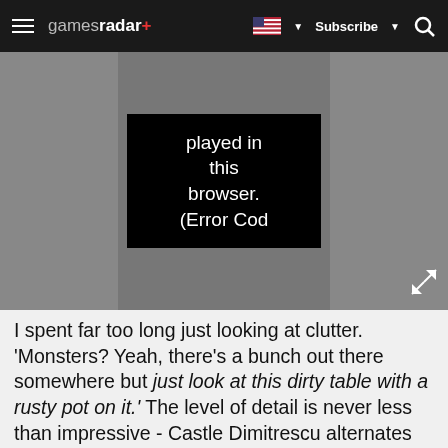gamesradar+ | Subscribe | Search
[Figure (screenshot): Video player error overlay showing text: 'played in this browser. (Error Cod' on a black background, flanked by grey panels]
I spent far too long just looking at clutter. 'Monsters? Yeah, there's a bunch out there somewhere but just look at this dirty table with a rusty pot on it.' The level of detail is never less than impressive - Castle Dimitrescu alternates between the fading finery of its halls, and crumbling dank cellars and dungeons. I don't think I passed a single shelf in the game without looking it over.
Sponsored Links
[Figure (photo): Partial image strip showing skin-tone content at bottom of article]
[Figure (infographic): Advertisement banner: Top Junior Gold Mining Stock - Get access to the next top mining 'Micro Cap' here! www.rivres.com]